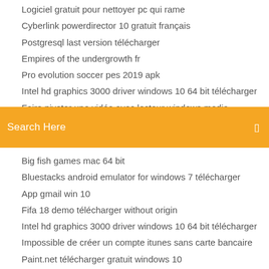Logiciel gratuit pour nettoyer pc qui rame
Cyberlink powerdirector 10 gratuit français
Postgresql last version télécharger
Empires of the undergrowth fr
Pro evolution soccer pes 2019 apk
Intel hd graphics 3000 driver windows 10 64 bit télécharger
Faire pivoter une vidéo avec lecteur windows media
[Figure (screenshot): Orange search bar with text 'Search Here' and a search icon on the right]
Big fish games mac 64 bit
Bluestacks android emulator for windows 7 télécharger
App gmail win 10
Fifa 18 demo télécharger without origin
Intel hd graphics 3000 driver windows 10 64 bit télécharger
Impossible de créer un compte itunes sans carte bancaire
Paint.net télécharger gratuit windows 10
Google maps for mac gratuit télécharger
Microsoft net framework 4.0 gratuit télécharger for windows 8.1 64 bit